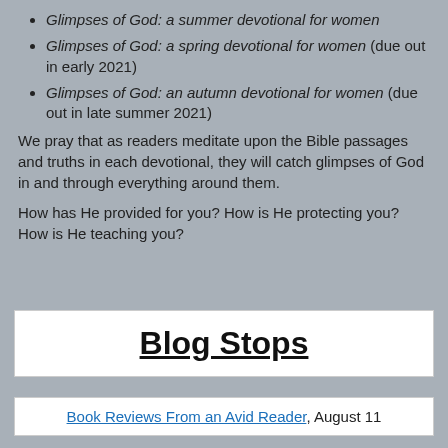Glimpses of God: a summer devotional for women
Glimpses of God: a spring devotional for women (due out in early 2021)
Glimpses of God: an autumn devotional for women (due out in late summer 2021)
We pray that as readers meditate upon the Bible passages and truths in each devotional, they will catch glimpses of God in and through everything around them.
How has He provided for you? How is He protecting you? How is He teaching you?
Blog Stops
Book Reviews From an Avid Reader, August 11